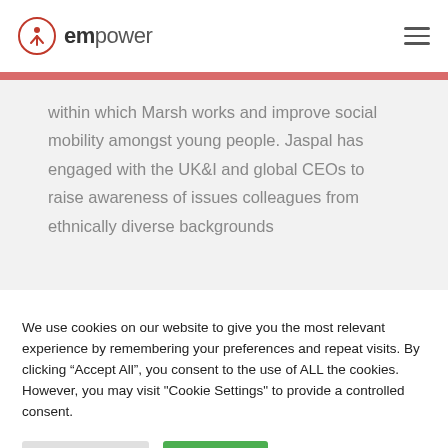empower
within which Marsh works and improve social mobility amongst young people. Jaspal has engaged with the UK&I and global CEOs to raise awareness of issues colleagues from ethnically diverse backgrounds
We use cookies on our website to give you the most relevant experience by remembering your preferences and repeat visits. By clicking "Accept All", you consent to the use of ALL the cookies. However, you may visit "Cookie Settings" to provide a controlled consent.
Cookie Settings
Accept All